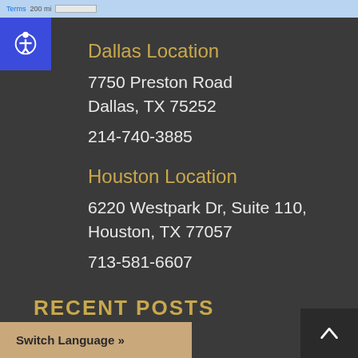[Figure (screenshot): Map strip showing Terms and 200 mi scale]
Dallas Location
7750 Preston Road
Dallas, TX 75252
214-740-3885
Houston Location
6220 Westpark Dr, Suite 110,
Houston, TX 77057
713-581-6607
RECENT POSTS
United States While
Cool?